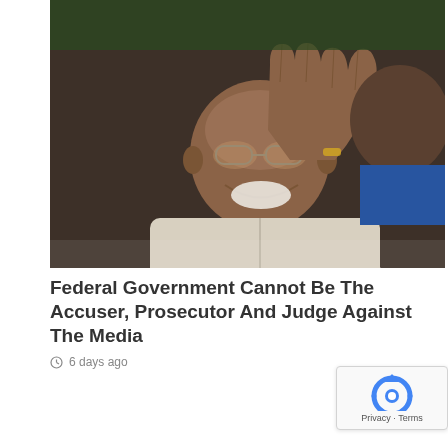[Figure (photo): A smiling man in a light-colored traditional outfit gesturing with his right hand, with another person partially visible in the background wearing blue attire.]
Federal Government Cannot Be The Accuser, Prosecutor And Judge Against The Media
6 days ago